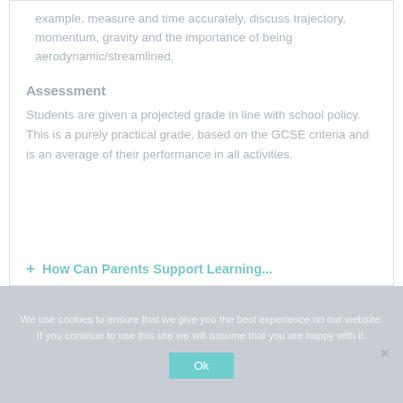example, measure and time accurately, discuss trajectory, momentum, gravity and the importance of being aerodynamic/streamlined.
Assessment
Students are given a projected grade in line with school policy. This is a purely practical grade, based on the GCSE criteria and is an average of their performance in all activities.
+ How Can Parents Support Learning...
We use cookies to ensure that we give you the best experience on our website. If you continue to use this site we will assume that you are happy with it.